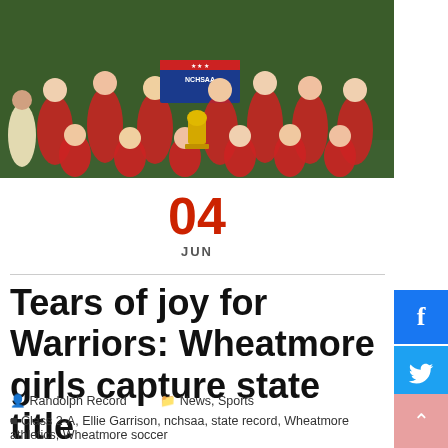[Figure (photo): Group photo of Wheatmore girls soccer team celebrating with NCHSAA banner and trophy on a field]
04
JUN
Tears of joy for Warriors: Wheatmore girls capture state title
Randolph Record   News, Sports
Class 2-A, Ellie Garrison, nchsaa, state record, Wheatmore athletics, Wheatmore soccer